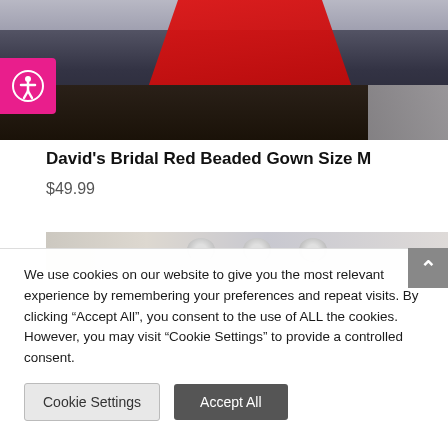[Figure (photo): Red beaded gown hanging on a rack in a room with dark hardwood floors and gray walls. A pink accessibility icon button is visible in the top-left corner of the page.]
David's Bridal Red Beaded Gown Size M
$49.99
[Figure (photo): Partial view of a vanity or dressing area with mirror lights visible at the top of the image.]
We use cookies on our website to give you the most relevant experience by remembering your preferences and repeat visits. By clicking “Accept All”, you consent to the use of ALL the cookies. However, you may visit “Cookie Settings” to provide a controlled consent.